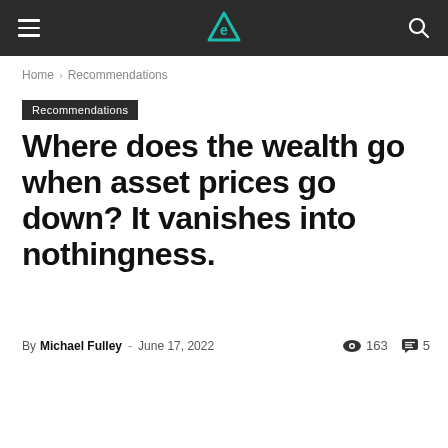Navigation bar with hamburger menu, logo, and search icon
Home › Recommendations
Recommendations
Where does the wealth go when asset prices go down? It vanishes into nothingness.
By Michael Fulley - June 17, 2022  163  5